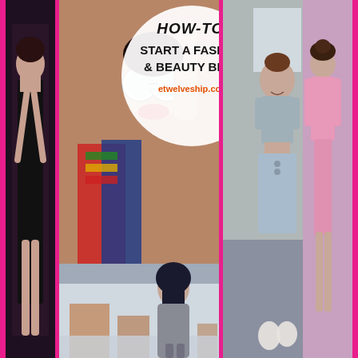[Figure (photo): Fashion and beauty blog collage with 5 photo panels: left strip showing woman in black outfit, center-top with fashion blog graphic overlay reading 'HOW-TO! START A FASHION & BEAUTY BLOG etwelveship.com' on image of woman with red lips and round sunglasses in colorful scarf, center-bottom showing woman in hijab and grey cardigan outdoors, right panel showing woman in denim skirt and grey crop top, far right strip showing woman in pink outfit]